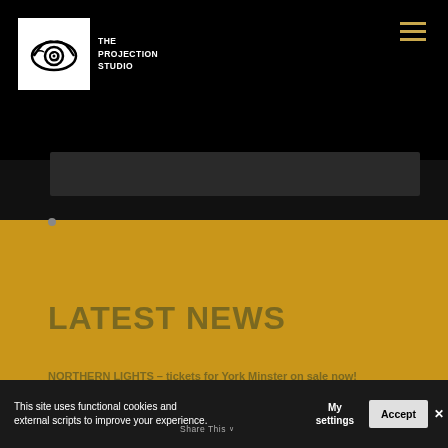[Figure (logo): The Projection Studio logo: white box with eye/lens icon, text 'THE PROJECTION STUDIO' beside it on black background]
LATEST NEWS
NORTHERN LIGHTS – tickets for York Minster on sale now!
May 28, 2019
This site uses functional cookies and external scripts to improve your experience.
My settings
Accept